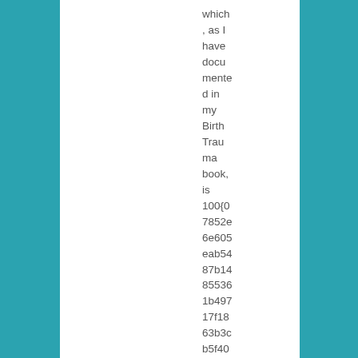which, as I have documented in my Birth Trauma book, is 100{07852e6e605eab5487b14855361b49717f1863b3cb5f40